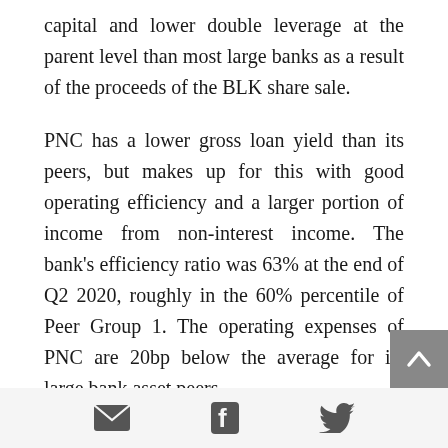capital and lower double leverage at the parent level than most large banks as a result of the proceeds of the BLK share sale.
PNC has a lower gross loan yield than its peers, but makes up for this with good operating efficiency and a larger portion of income from non-interest income. The bank’s efficiency ratio was 63% at the end of Q2 2020, roughly in the 60% percentile of Peer Group 1. The operating expenses of PNC are 20bp below the average for its large bank asset peers.
[email icon] [facebook icon] [twitter icon]